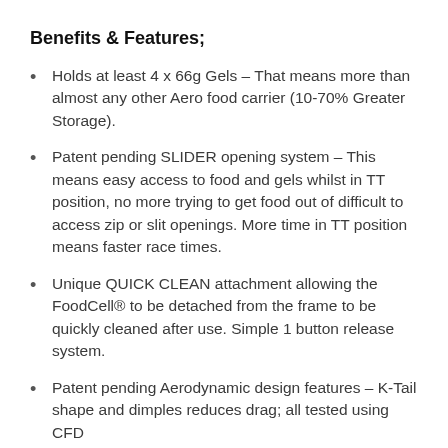Benefits & Features;
Holds at least 4 x 66g Gels – That means more than almost any other Aero food carrier (10-70% Greater Storage).
Patent pending SLIDER opening system – This means easy access to food and gels whilst in TT position, no more trying to get food out of difficult to access zip or slit openings. More time in TT position means faster race times.
Unique QUICK CLEAN attachment allowing the FoodCell® to be detached from the frame to be quickly cleaned after use. Simple 1 button release system.
Patent pending Aerodynamic design features – K-Tail shape and dimples reduces drag; all tested using CFD